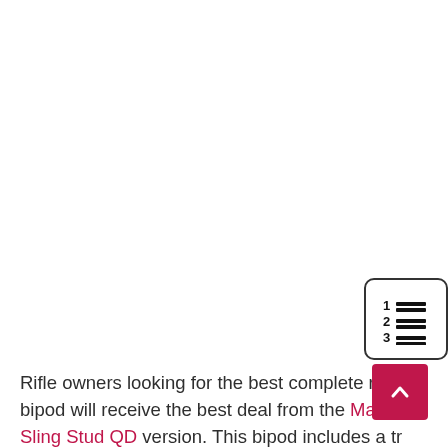[Figure (other): Numbered list icon — a small rounded-rectangle icon showing '1 2 3' with horizontal lines next to each number, representing a table of contents or ordered list UI button]
Rifle owners looking for the best complete rifle bipod will receive the best deal from the Magpul Sling Stud QD version. This bipod includes a tr mil-spec anodized finish and construction using